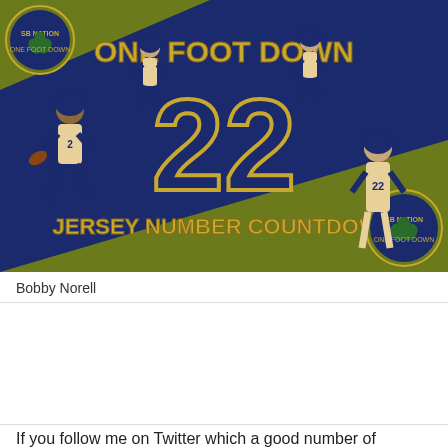[Figure (illustration): One Foot Down Jersey Number Countdown banner featuring the number 22 in gold on navy blue background, with multiple Notre Dame football players wearing #22, olive/gold diagonal stripes, and the One Foot Down SB Nation logo in corners.]
Bobby Norell
If you follow me on Twitter which a good number of